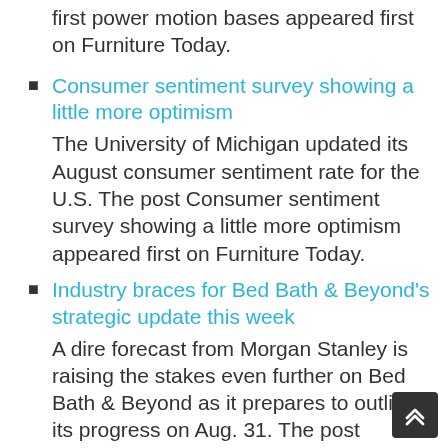first power motion bases appeared first on Furniture Today.
Consumer sentiment survey showing a little more optimism
The University of Michigan updated its August consumer sentiment rate for the U.S. The post Consumer sentiment survey showing a little more optimism appeared first on Furniture Today.
Industry braces for Bed Bath & Beyond's strategic update this week
A dire forecast from Morgan Stanley is raising the stakes even further on Bed Bath & Beyond as it prepares to outline its progress on Aug. 31. The post Industry braces for Bed Bath & Beyond's strategic update this week appeared first on Furniture Today.